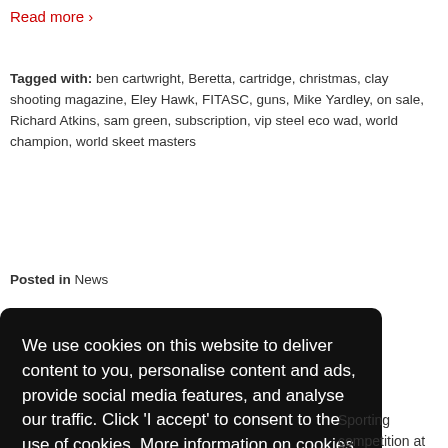Read more ›
Tagged with: ben cartwright, Beretta, cartridge, christmas, clay shooting magazine, Eley Hawk, FITASC, guns, Mike Yardley, on sale, Richard Atkins, sam green, subscription, vip steel eco wad, world champion, world skeet masters
Posted in News
We use cookies on this website to deliver content to you, personalise content and ads, provide social media features, and analyse our traffic. Click 'I accept' to consent to the use of cookies. More information on cookies and how to manage them click here
I Accept
Sporting competition at Ian